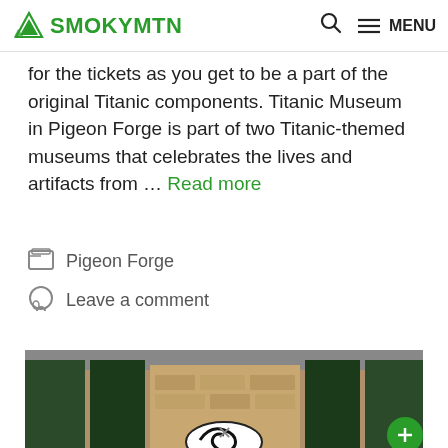SMOKYMTN — Search — MENU
for the tickets as you get to be a part of the original Titanic components. Titanic Museum in Pigeon Forge is part of two Titanic-themed museums that celebrates the lives and artifacts from … Read more
Pigeon Forge
Leave a comment
[Figure (photo): Exterior of a building with stone facade, dark green shutters or panels, and a black and white spiral/barber-pole style sign visible at the bottom center. A green circle icon appears at the bottom right.]